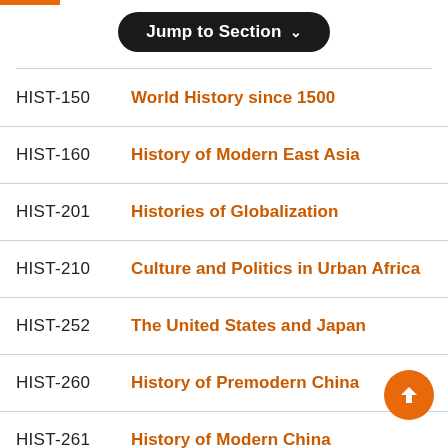[Figure (screenshot): Orange top navigation bar strip]
Jump to Section ∨
HIST-150   World History since 1500
HIST-160   History of Modern East Asia
HIST-201   Histories of Globalization
HIST-210   Culture and Politics in Urban Africa
HIST-252   The United States and Japan
HIST-260   History of Premodern China
HIST-261   History of Modern China